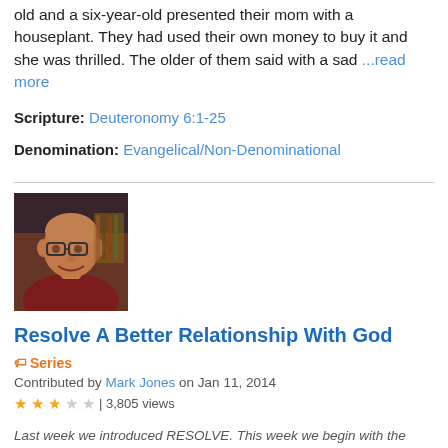old and a six-year-old presented their mom with a houseplant. They had used their own money to buy it and she was thrilled. The older of them said with a sad ...read more
Scripture: Deuteronomy 6:1-25
Denomination: Evangelical/Non-Denominational
[Figure (photo): Headshot photo of a bald man wearing a dark red shirt, smiling, with a bookshelf in the background.]
Resolve A Better Relationship With God
Contributed by Mark Jones on Jan 11, 2014
3 out of 5 stars | 3,805 views
Last week we introduced RESOLVE. This week we begin with the most important resolution, a stronger relationship with God. This is part 1 of 3 parts. Here is the outline. The second part contains numerous Scriptures on the Fear of God from the ESV.
Scripture: Deuteronomy 6:1-25